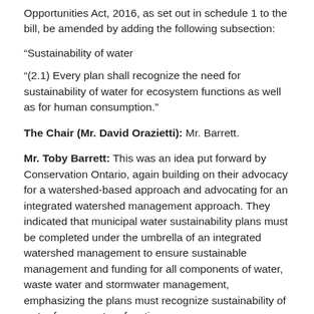Opportunities Act, 2016, as set out in schedule 1 to the bill, be amended by adding the following subsection:
“Sustainability of water
“(2.1) Every plan shall recognize the need for sustainability of water for ecosystem functions as well as for human consumption.”
The Chair (Mr. David Orazietti): Mr. Barrett.
Mr. Toby Barrett: This was an idea put forward by Conservation Ontario, again building on their advocacy for a watershed-based approach and advocating for an integrated watershed management approach. They indicated that municipal water sustainability plans must be completed under the umbrella of an integrated watershed management to ensure sustainable management and funding for all components of water, waste water and stormwater management, emphasizing the plans must recognize sustainability of water for ecosystem functions as